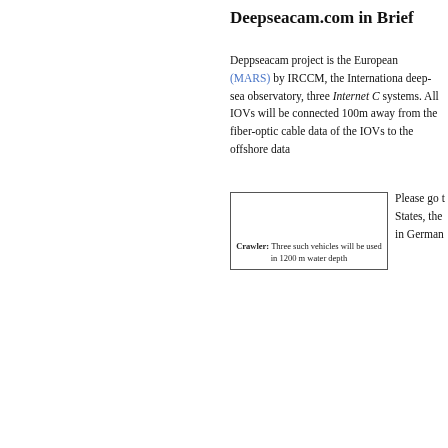Deepseacam.com in Brief
Deppseacam project is the European (MARS) by IRCCM, the Internationa deep-sea observatory, three Internet C systems. All IOVs will be connected 100m away from the fiber-optic cable data of the IOVs to the offshore data
[Figure (other): A bordered box representing a crawler vehicle figure with caption: Crawler: Three such vehicles will be used in 1200 m water depth]
Crawler: Three such vehicles will be used in 1200 m water depth
Please go t States, the in German